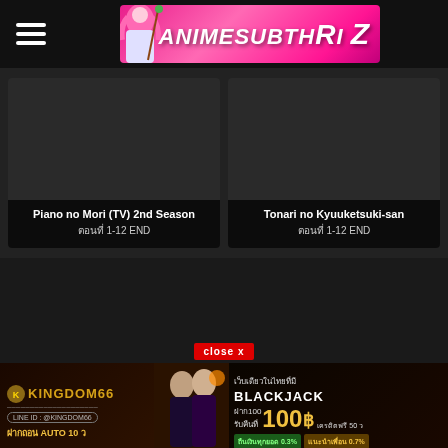ANIMESUBTHAI Z
Piano no Mori (TV) 2nd Season ตอนที่ 1-12 END
Tonari no Kyuuketsuki-san ตอนที่ 1-12 END
[Figure (screenshot): close x button]
[Figure (infographic): Kingdom66 casino advertisement banner with Thai text: เว็บเดียวในไทยที่มี BLACKJACK, ฝาก100 รับคืนที่ 100B, เครดิตฟรี 50 ?, LINE ID: @KINGDOM66, ฝากถอน AUTO 10 ว, ถืนเงินทุกยอด 0.3%, แนะนำเพื่อน 0.7%]
ตอนที่ 1 END  ตอนที่ 1-12 END